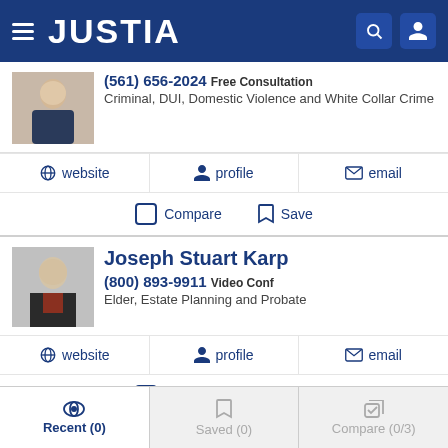JUSTIA
(561) 656-2024 Free Consultation
Criminal, DUI, Domestic Violence and White Collar Crime
website  profile  email
Compare  Save
Joseph Stuart Karp
(800) 893-9911 Video Conf
Elder, Estate Planning and Probate
website  profile  email
Compare  Save
Recent (0)  Saved (0)  Compare (0/3)